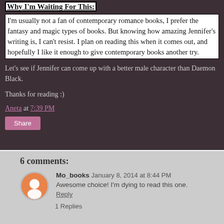Why I'm Waiting For This:
I'm usually not a fan of contemporary romance books, I prefer the fantasy and magic types of books. But knowing how amazing Jennifer's writing is, I can't resist. I plan on reading this when it comes out, and hopefully I like it enough to give contemporary books another try.
Let's see if Jennifer can come up with a better male character than Daemon Black.
Thanks for reading :)
Aneta at 7:39 PM
Share
6 comments:
Mo_books January 8, 2014 at 8:44 PM
Awesome choice! I'm dying to read this one.
Reply